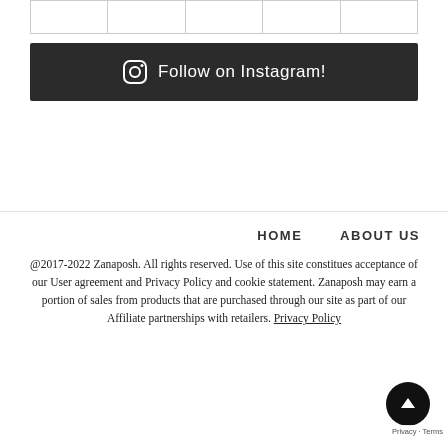[Figure (other): Top row of five empty image cells with borders]
[Figure (other): Dark banner with Instagram icon and text 'Follow on Instagram!']
HOME   ABOUT US
@2017-2022 Zanaposh. All rights reserved. Use of this site constitues acceptance of our User agreement and Privacy Policy and cookie statement. Zanaposh may earn a portion of sales from products that are purchased through our site as part of our Affiliate partnerships with retailers. Privacy Policy